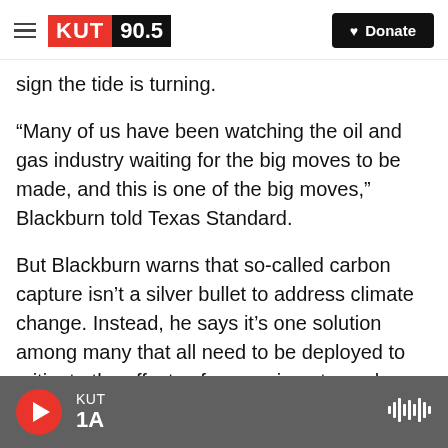KUT 90.5 | Donate
sign the tide is turning.
“Many of us have been watching the oil and gas industry waiting for the big moves to be made, and this is one of the big moves,” Blackburn told Texas Standard.
But Blackburn warns that so-called carbon capture isn’t a silver bullet to address climate change. Instead, he says it’s one solution among many that all need to be deployed to mitigate the effects of a warming atmosphere.
“I don’t think anything is more important about
KUT | 1A